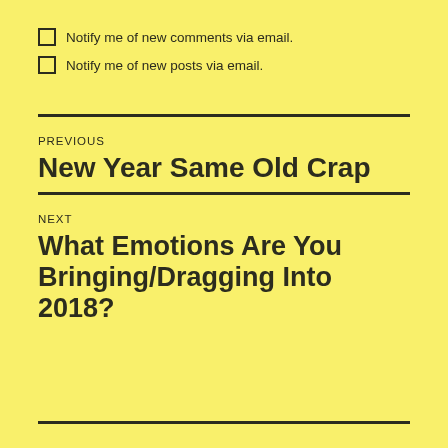Notify me of new comments via email.
Notify me of new posts via email.
PREVIOUS
New Year Same Old Crap
NEXT
What Emotions Are You Bringing/Dragging Into 2018?